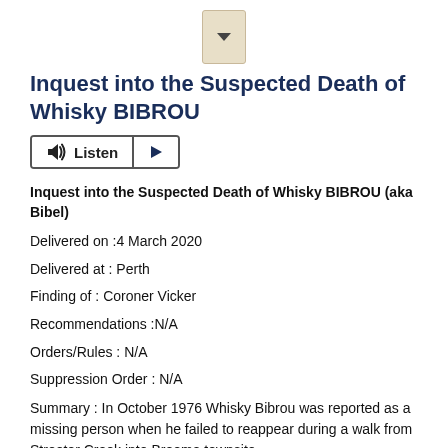[Figure (other): Small dropdown/document icon with downward arrow, beige/tan color]
Inquest into the Suspected Death of Whisky BIBROU
[Figure (other): Listen audio player button with speaker icon and play button]
Inquest into the Suspected Death of Whisky BIBROU (aka Bibel)
Delivered on :4 March 2020
Delivered at : Perth
Finding of : Coroner Vicker
Recommendations :N/A
Orders/Rules : N/A
Suppression Order : N/A
Summary : In October 1976 Whisky Bibrou was reported as a missing person when he failed to reappear during a walk from Streeter Creek into Broome townsite.